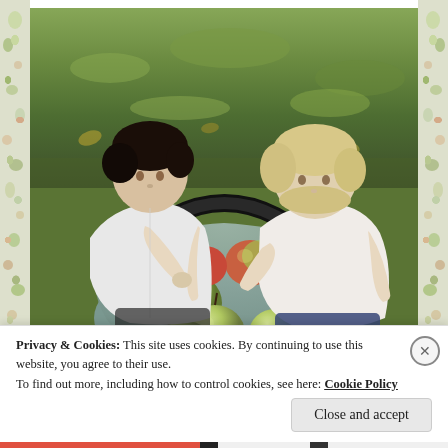[Figure (photo): Two children, one with dark hair and one with blonde hair, leaning over a large basket or bag filled with green and red apples, on grass in an outdoor orchard setting.]
Privacy & Cookies: This site uses cookies. By continuing to use this website, you agree to their use.
To find out more, including how to control cookies, see here: Cookie Policy
Close and accept